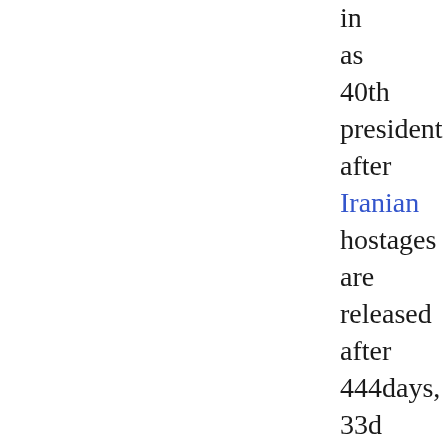in as 40th president after Iranian hostages are released after 444days, 33d governor of California, actor